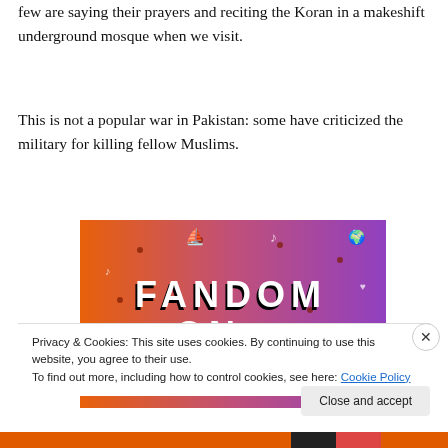few are saying their prayers and reciting the Koran in a makeshift underground mosque when we visit.
This is not a popular war in Pakistan: some have criticized the military for killing fellow Muslims.
[Figure (illustration): Colorful promotional image with gradient background from orange to purple, featuring doodles and the text 'FANDOM ON tumblr' in bold letters with black shadow effect.]
Privacy & Cookies: This site uses cookies. By continuing to use this website, you agree to their use.
To find out more, including how to control cookies, see here: Cookie Policy
Close and accept